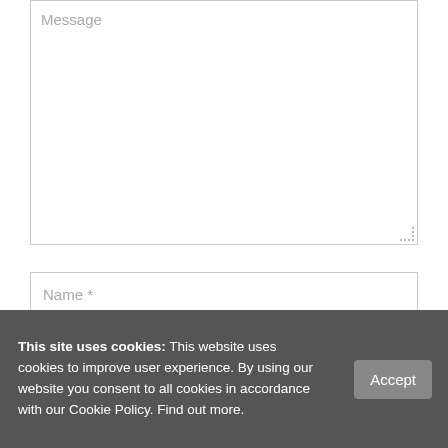[Figure (screenshot): A web form textarea with placeholder text 'Message']
[Figure (screenshot): A text input field with placeholder 'Name *']
[Figure (screenshot): A text input field with placeholder 'Your email address *']
Save my name, email, and website in this browser for the next time I comment.
[Figure (screenshot): Orange 'Post Comment' button]
This site uses cookies: This website uses cookies to improve user experience. By using our website you consent to all cookies in accordance with our Cookie Policy. Find out more.